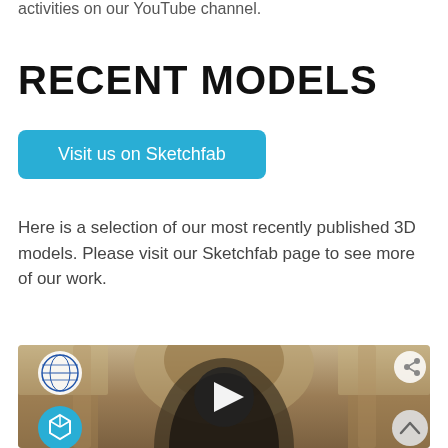activities on our YouTube channel.
RECENT MODELS
[Figure (other): Blue button labeled 'Visit us on Sketchfab']
Here is a selection of our most recently published 3D models. Please visit our Sketchfab page to see more of our work.
[Figure (screenshot): Sketchfab embedded 3D model viewer showing ornate mosaic arch interior of a church/cathedral, with play button, logo icons, share and scroll controls]